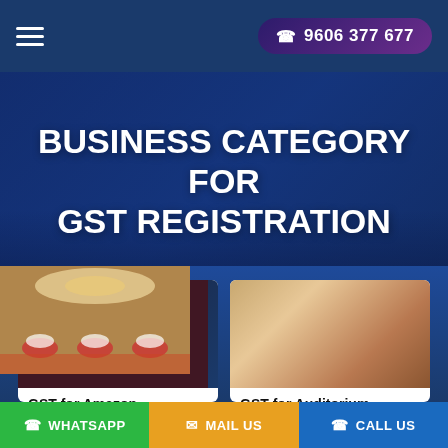☰  📞 9606 377 677
BUSINESS CATEGORY FOR GST REGISTRATION
[Figure (photo): Amazon seller app on a smartphone with 'amazon seller - Select Your Marketplace' text on a dark background]
GST for Amazon Sellers
Amazon is an online selling platform for every
[Figure (photo): Ballroom or banquet hall with round tables set up with white and red linens, chairs, and a large chandelier]
GST for Auditorium and Banquet Halls
Every building owner should pay taxes to the
WHATSAPP  MAIL US  CALL US